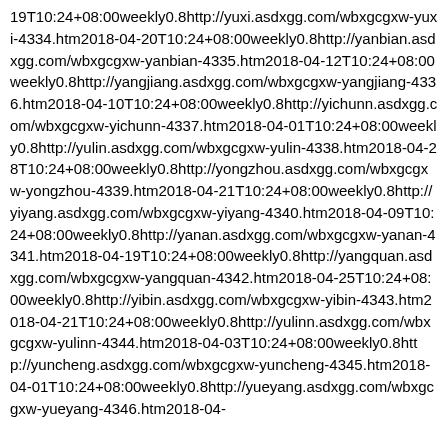19T10:24+08:00weekly0.8http://yuxi.asdxgg.com/wbxgcgxw-yuxi-4334.htm2018-04-20T10:24+08:00weekly0.8http://yanbian.asdxgg.com/wbxgcgxw-yanbian-4335.htm2018-04-12T10:24+08:00weekly0.8http://yangjiang.asdxgg.com/wbxgcgxw-yangjiang-4336.htm2018-04-10T10:24+08:00weekly0.8http://yichunn.asdxgg.com/wbxgcgxw-yichunn-4337.htm2018-04-01T10:24+08:00weekly0.8http://yulin.asdxgg.com/wbxgcgxw-yulin-4338.htm2018-04-28T10:24+08:00weekly0.8http://yongzhou.asdxgg.com/wbxgcgxw-yongzhou-4339.htm2018-04-21T10:24+08:00weekly0.8http://yiyang.asdxgg.com/wbxgcgxw-yiyang-4340.htm2018-04-09T10:24+08:00weekly0.8http://yanan.asdxgg.com/wbxgcgxw-yanan-4341.htm2018-04-19T10:24+08:00weekly0.8http://yangquan.asdxgg.com/wbxgcgxw-yangquan-4342.htm2018-04-25T10:24+08:00weekly0.8http://yibin.asdxgg.com/wbxgcgxw-yibin-4343.htm2018-04-21T10:24+08:00weekly0.8http://yulinn.asdxgg.com/wbxgcgxw-yulinn-4344.htm2018-04-03T10:24+08:00weekly0.8http://yuncheng.asdxgg.com/wbxgcgxw-yuncheng-4345.htm2018-04-01T10:24+08:00weekly0.8http://yueyang.asdxgg.com/wbxgcgxw-yueyang-4346.htm2018-04-